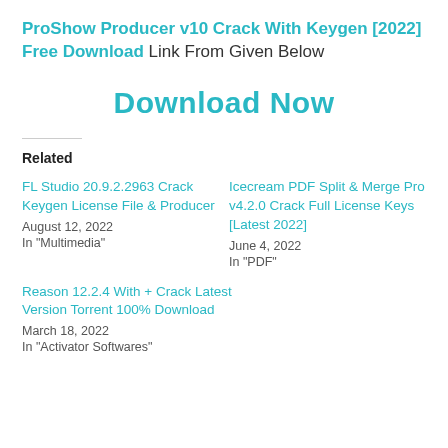ProShow Producer v10 Crack With Keygen [2022] Free Download Link From Given Below
Download Now
Related
FL Studio 20.9.2.2963 Crack Keygen License File & Producer
August 12, 2022
In "Multimedia"
Icecream PDF Split & Merge Pro v4.2.0 Crack Full License Keys [Latest 2022]
June 4, 2022
In "PDF"
Reason 12.2.4 With + Crack Latest Version Torrent 100% Download
March 18, 2022
In "Activator Softwares"